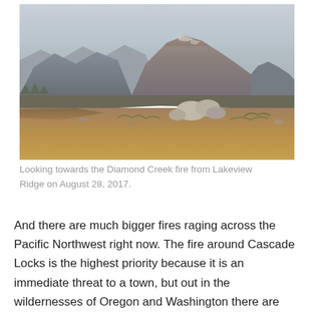[Figure (photo): Mountain landscape showing rocky alpine terrain in the foreground with large boulders and dry grass, and hazy mountain peaks in the background under a smoky sky. The Diamond Creek fire area viewed from Lakeview Ridge.]
Looking towards the Diamond Creek fire from Lakeview Ridge on August 28, 2017.
And there are much bigger fires raging across the Pacific Northwest right now. The fire around Cascade Locks is the highest priority because it is an immediate threat to a town, but out in the wildernesses of Oregon and Washington there are much bigger blazes. The Diamond